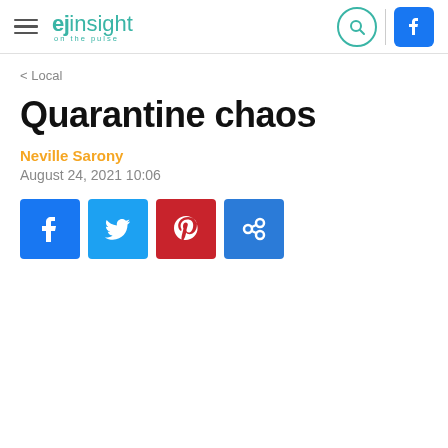ejinsight on the pulse
< Local
Quarantine chaos
Neville Sarony
August 24, 2021 10:06
[Figure (infographic): Social media share buttons: Facebook (blue), Twitter (light blue), Pinterest (red), Link (blue)]